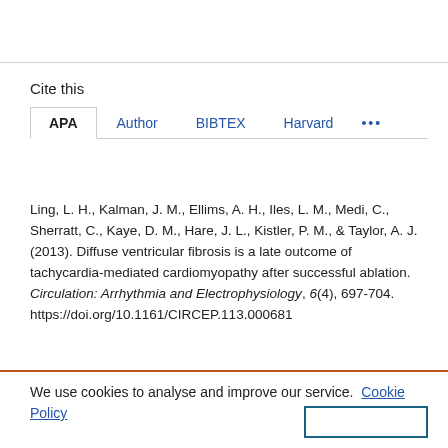Cite this
APA  Author  BIBTEX  Harvard  ...
Ling, L. H., Kalman, J. M., Ellims, A. H., Iles, L. M., Medi, C., Sherratt, C., Kaye, D. M., Hare, J. L., Kistler, P. M., & Taylor, A. J. (2013). Diffuse ventricular fibrosis is a late outcome of tachycardia-mediated cardiomyopathy after successful ablation. Circulation: Arrhythmia and Electrophysiology, 6(4), 697-704. https://doi.org/10.1161/CIRCEP.113.000681
We use cookies to analyse and improve our service. Cookie Policy